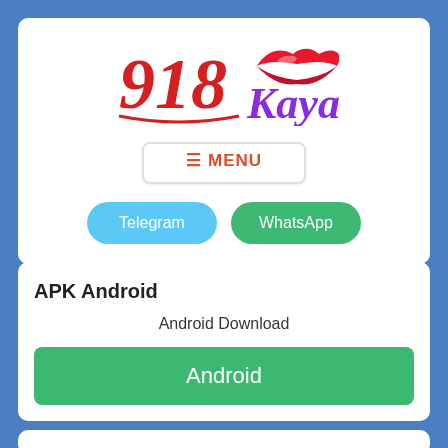[Figure (logo): 918Kaya logo with stylized red text '918' and cursive purple 'Kaya' text with a red lips graphic]
≡MENU
Telegram
WhatsApp
APK Android
Android Download
Android